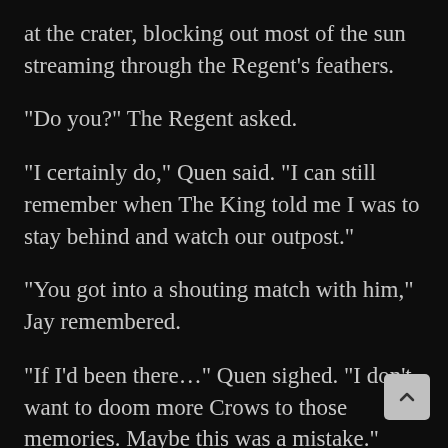at the crater, blocking out most of the sun streaming through the Regent’s feathers.
“Do you?” The Regent asked.
“I certainly do,” Quen said. “I can still remember when The King told me I was to stay behind and watch our outpost.”
“You got into a shouting match with him,” Jay remembered.
“If I’d been there…” Quen sighed. “I don’t want to doom more Crows to those memories. Maybe this was a mistake.”